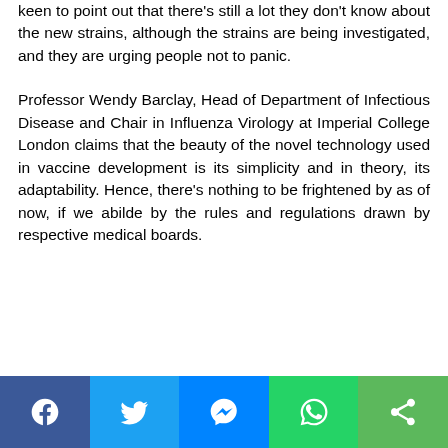keen to point out that there's still a lot they don't know about the new strains, although the strains are being investigated, and they are urging people not to panic.
Professor Wendy Barclay, Head of Department of Infectious Disease and Chair in Influenza Virology at Imperial College London claims that the beauty of the novel technology used in vaccine development is its simplicity and in theory, its adaptability. Hence, there's nothing to be frightened by as of now, if we abilde by the rules and regulations drawn by respective medical boards.
[Figure (infographic): Social media share bar with Facebook, Twitter, Messenger, WhatsApp, and Share buttons]